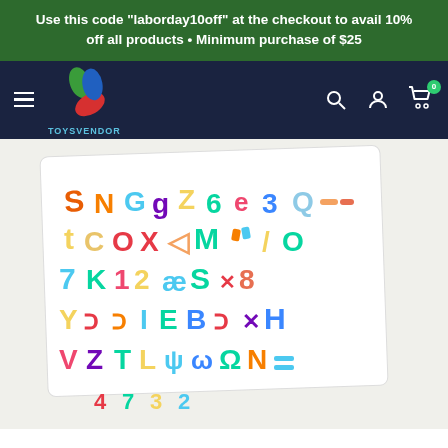Use this code "laborday10off" at the checkout to avail 10% off all products • Minimum purchase of $25
[Figure (logo): ToysVendor logo with colorful pinwheel icon and 'TOYSVENDOR' text below, navigation bar with hamburger menu, search, account, and cart icons on dark navy background]
[Figure (photo): Colorful wooden alphabet and number puzzle pieces arranged on a white board, showing letters and numbers in various bright colors with patterns like stripes and polka dots]